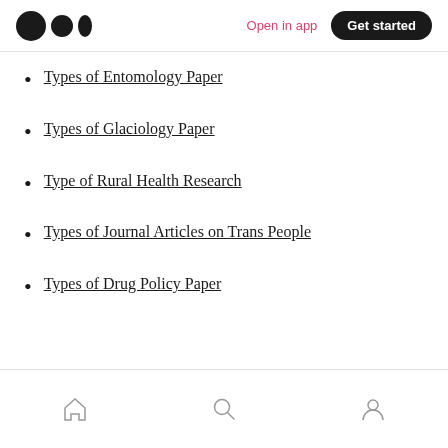Open in app | Get started
Types of Entomology Paper
Types of Glaciology Paper
Type of Rural Health Research
Types of Journal Articles on Trans People
Types of Drug Policy Paper
Home | Search | Profile